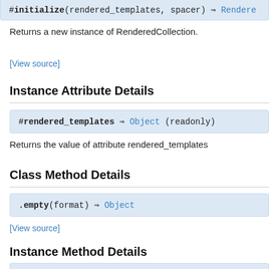[Figure (screenshot): Code signature box showing: #initialize(rendered_templates, spacer) ⇒ Rendered...]
Returns a new instance of RenderedCollection.
[View source]
Instance Attribute Details
[Figure (screenshot): Code box showing: #rendered_templates ⇒ Object (readonly)]
Returns the value of attribute rendered_templates
Class Method Details
[Figure (screenshot): Code box showing: .empty(format) ⇒ Object]
[View source]
Instance Method Details
[Figure (screenshot): Code box showing: #body ⇒ Object (partial)]